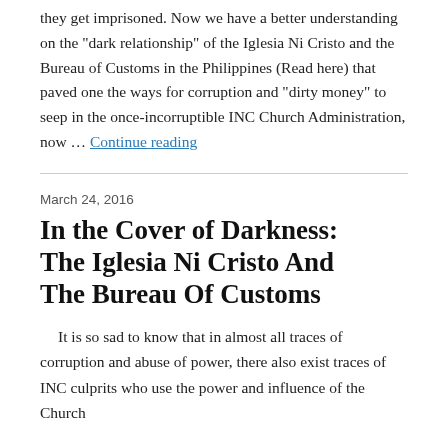they get imprisoned. Now we have a better understanding on the "dark relationship" of the Iglesia Ni Cristo and the Bureau of Customs in the Philippines (Read here) that paved one the ways for corruption and "dirty money" to seep in the once-incorruptible INC Church Administration, now … Continue reading
March 24, 2016
In the Cover of Darkness: The Iglesia Ni Cristo And The Bureau Of Customs
It is so sad to know that in almost all traces of corruption and abuse of power, there also exist traces of INC culprits who use the power and influence of the Church